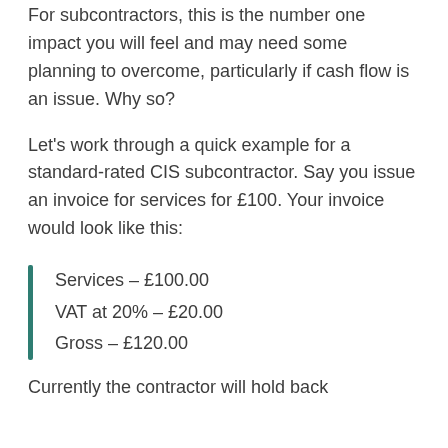For subcontractors, this is the number one impact you will feel and may need some planning to overcome, particularly if cash flow is an issue. Why so?
Let's work through a quick example for a standard-rated CIS subcontractor. Say you issue an invoice for services for £100. Your invoice would look like this:
Services – £100.00
VAT at 20% – £20.00
Gross – £120.00
Currently the contractor will hold back